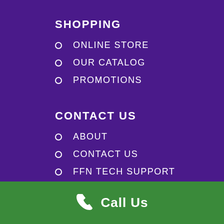SHOPPING
ONLINE STORE
OUR CATALOG
PROMOTIONS
CONTACT US
ABOUT
CONTACT US
FFN TECH SUPPORT
Call Us